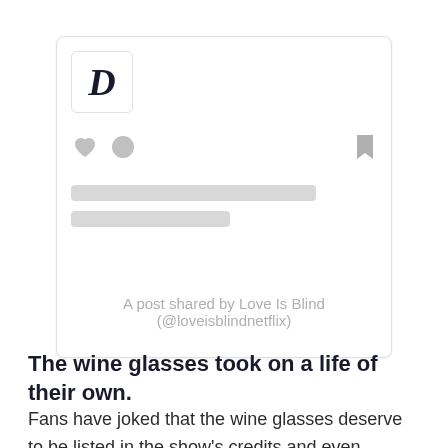[Figure (screenshot): Social media embed card with a stylized italic 'D' logo in top-left box, heart and comment icons, bookmark icon, two gray placeholder text lines, and attribution text 'A post shared by Love Is Blind (@loveisblindnetflix)']
A post shared by Love Is Blind (@loveisblindnetflix)
The wine glasses took on a life of their own.
Fans have joked that the wine glasses deserve to be listed in the show's credits and even offered some key interview opportunities for their work on